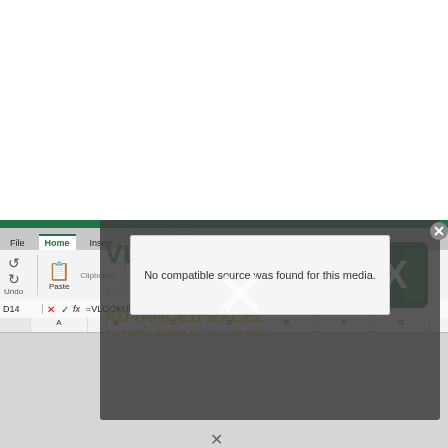[Figure (screenshot): Screenshot of Microsoft Excel with a VLOOKUP tutorial overlay. The overlay shows 'VLOOKUP' in large green text, 'Lookup a value in a table by matching on the first column.' in white text, 'ADVANCED EXCEL' in yellow, 'TUTOR: SUNDAR DANNANA' in yellow, and an Excel logo. A media error dialog overlays the center with text 'No compatible source was found for this media.' with a large X. The Excel ribbon shows File, Home, Insert, Draw, Page Layout, Formulas, Data, Review tabs.]
No compatible source was found for this media.